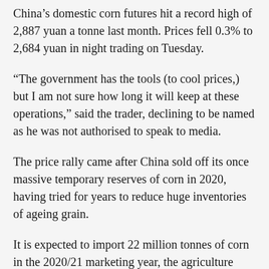China's domestic corn futures hit a record high of 2,887 yuan a tonne last month. Prices fell 0.3% to 2,684 yuan in night trading on Tuesday.
“The government has the tools (to cool prices,) but I am not sure how long it will keep at these operations,” said the trader, declining to be named as he was not authorised to speak to media.
The price rally came after China sold off its once massive temporary reserves of corn in 2020, having tried for years to reduce huge inventories of ageing grain.
It is expected to import 22 million tonnes of corn in the 2020/21 marketing year, the agriculture ministry said in April, more than doubling its previous forecast.